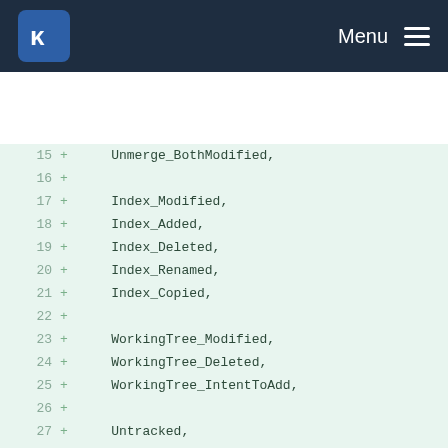KDE Menu
[Figure (screenshot): Code diff view showing C++ enum definitions with line numbers 15-34, additions marked with '+'. Lines include enum values: Unmerge_BothModified, Index_Modified, Index_Added, Index_Deleted, Index_Renamed, Index_Copied, WorkingTree_Modified, WorkingTree_Deleted, WorkingTree_IntentToAdd, Untracked, Ignored, closing brace, enum StatusXY with DD=0x4444, AU=0x4155, UD=0x5544.]